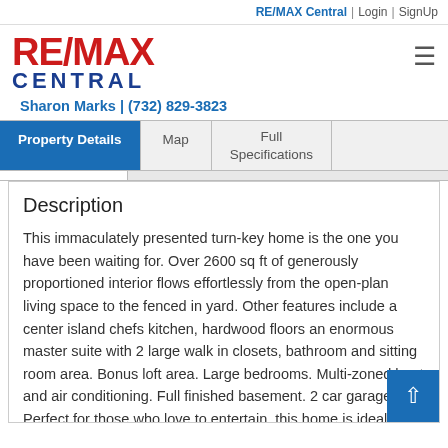RE/MAX Central | Login | SignUp
[Figure (logo): RE/MAX Central logo with red RE/MAX and blue CENTRAL text]
Sharon Marks | (732) 829-3823
Property Details | Map | Full Specifications
Description
This immaculately presented turn-key home is the one you have been waiting for. Over 2600 sq ft of generously proportioned interior flows effortlessly from the open-plan living space to the fenced in yard. Other features include a center island chefs kitchen, hardwood floors an enormous master suite with 2 large walk in closets, bathroom and sitting room area. Bonus loft area. Large bedrooms. Multi-zoned heat and air conditioning. Full finished basement. 2 car garage. Perfect for those who love to entertain, this home is ideally positioned to enjoy